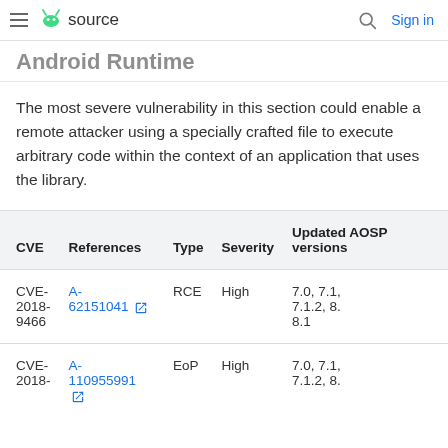≡  source   🔍  Sign in
Android Runtime
The most severe vulnerability in this section could enable a remote attacker using a specially crafted file to execute arbitrary code within the context of an application that uses the library.
| CVE | References | Type | Severity | Updated AOSP versions |
| --- | --- | --- | --- | --- |
| CVE-2018-9466 | A-62151041 | RCE | High | 7.0, 7.1, 7.1.2, 8.0, 8.1 |
| CVE-2018- | A-110955991 | EoP | High | 7.0, 7.1, 7.1.2, 8... |